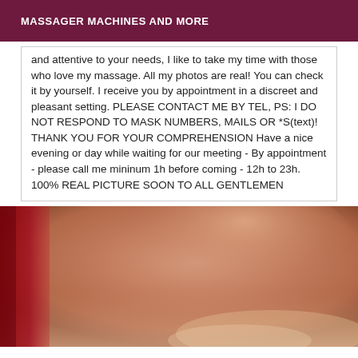MASSAGER MACHINES AND MORE
and attentive to your needs, I like to take my time with those who love my massage. All my photos are real! You can check it by yourself. I receive you by appointment in a discreet and pleasant setting. PLEASE CONTACT ME BY TEL, PS: I DO NOT RESPOND TO MASK NUMBERS, MAILS OR *S(text)! THANK YOU FOR YOUR COMPREHENSION Have a nice evening or day while waiting for our meeting - By appointment - please call me mininum 1h before coming - 12h to 23h. 100% REAL PICTURE SOON TO ALL GENTLEMEN
[Figure (photo): Close-up photo of a person's skin/body, warm tan tones with blurred background, red fabric visible at left edge.]